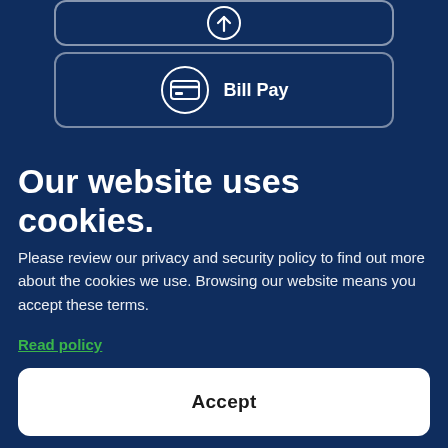[Figure (screenshot): Partially visible button with icon at top, cropped at top edge]
[Figure (screenshot): Bill Pay button with credit card icon inside a rounded rectangle border]
Our website uses cookies.
Please review our privacy and security policy to find out more about the cookies we use. Browsing our website means you accept these terms.
Read policy
Accept